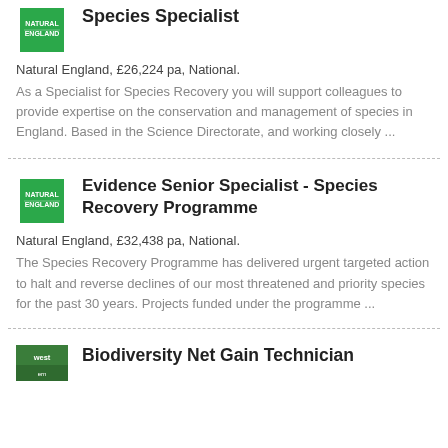[Figure (logo): Natural England green logo with white text]
Species Specialist
Natural England, £26,224 pa, National.
As a Specialist for Species Recovery you will support colleagues to provide expertise on the conservation and management of species in England. Based in the Science Directorate, and working closely ...
[Figure (logo): Natural England green logo with white text]
Evidence Senior Specialist - Species Recovery Programme
Natural England, £32,438 pa, National.
The Species Recovery Programme has delivered urgent targeted action to halt and reverse declines of our most threatened and priority species for the past 30 years. Projects funded under the programme ...
[Figure (logo): Western logo - partially visible]
Biodiversity Net Gain Technician